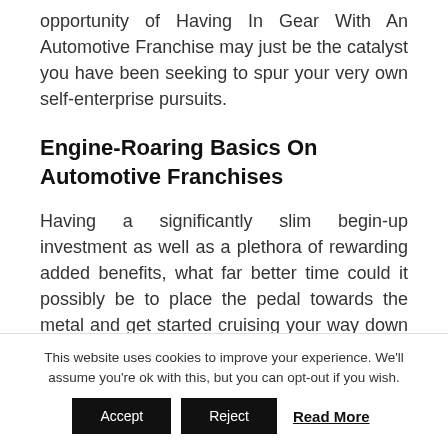opportunity of Having In Gear With An Automotive Franchise may just be the catalyst you have been seeking to spur your very own self-enterprise pursuits.
Engine-Roaring Basics On Automotive Franchises
Having a significantly slim begin-up investment as well as a plethora of rewarding added benefits, what far better time could it possibly be to place the pedal towards the metal and get started cruising your way down the triple-
This website uses cookies to improve your experience. We'll assume you're ok with this, but you can opt-out if you wish.